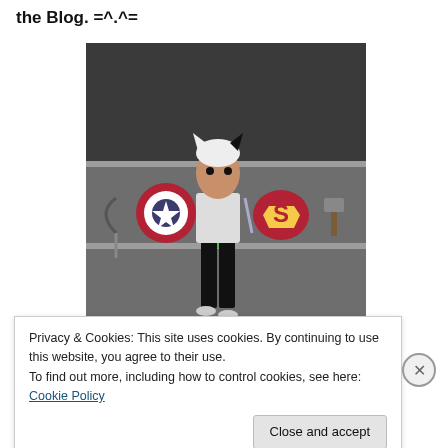the Blog. =^.^=
[Figure (illustration): A 3D avatar character with cat ears, white/black hair, wearing a superhero-themed top and black pants, standing against a gray background with superhero icons including Captain America shield, Superman logo, Thor's hammer, Wolverine claws, and a scythe.]
Privacy & Cookies: This site uses cookies. By continuing to use this website, you agree to their use.
To find out more, including how to control cookies, see here: Cookie Policy
Close and accept